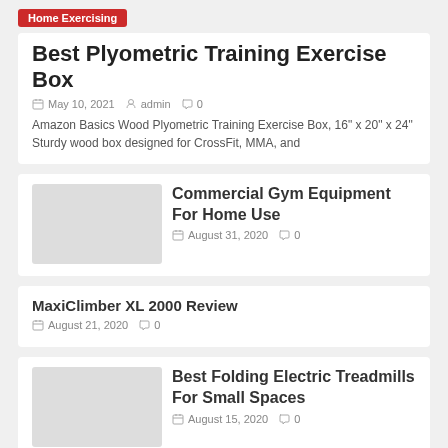Home Exercising
Best Plyometric Training Exercise Box
May 10, 2021  admin  0
Amazon Basics Wood Plyometric Training Exercise Box, 16" x 20" x 24" Sturdy wood box designed for CrossFit, MMA, and
Commercial Gym Equipment For Home Use
August 31, 2020  0
MaxiClimber XL 2000 Review
August 21, 2020  0
Best Folding Electric Treadmills For Small Spaces
August 15, 2020  0